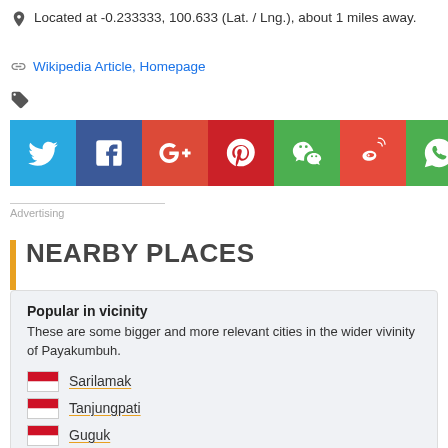Located at -0.233333, 100.633 (Lat. / Lng.), about 1 miles away.
Wikipedia Article, Homepage
[Figure (infographic): Row of social media share buttons: Twitter (blue), Facebook (dark blue), Google+ (orange-red), Pinterest (red), WeChat (green), Weibo (red), WhatsApp (green)]
Advertising
NEARBY PLACES
Popular in vicinity
These are some bigger and more relevant cities in the wider vivinity of Payakumbuh.
Sarilamak
Tanjungpati
Guguk